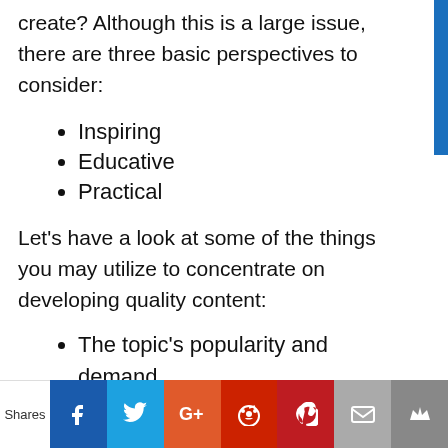create? Although this is a large issue, there are three basic perspectives to consider:
Inspiring
Educative
Practical
Let's have a look at some of the things you may utilize to concentrate on developing quality content:
The topic's popularity and demand
The approach you take to the
Shares | Facebook | Twitter | Google+ | Reddit | Pinterest | Email | Crown